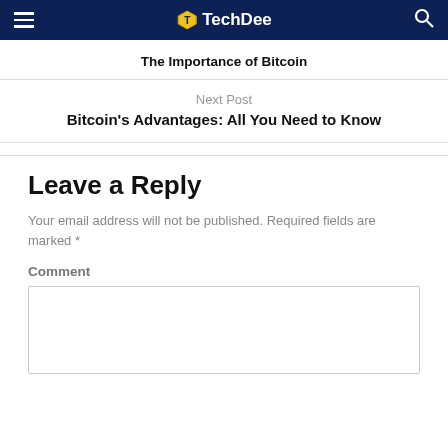TechDee
The Importance of Bitcoin
Next Post
Bitcoin's Advantages: All You Need to Know
Leave a Reply
Your email address will not be published. Required fields are marked *
Comment